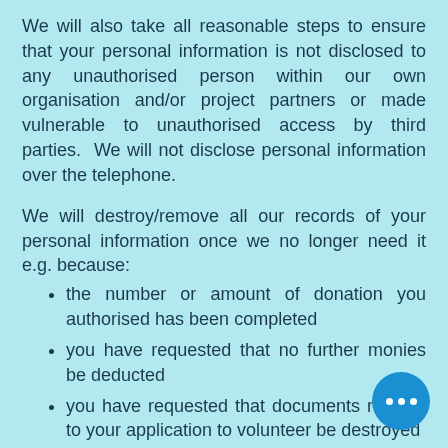We will also take all reasonable steps to ensure that your personal information is not disclosed to any unauthorised person within our own organisation and/or project partners or made vulnerable to unauthorised access by third parties.  We will not disclose personal information over the telephone.
We will destroy/remove all our records of your personal information once we no longer need it e.g. because:
the number or amount of donation you authorised has been completed
you have requested that no further monies be deducted
you have requested that documents relating to your application to volunteer be destroyed
you have requested that your information be removed
Apart from secure pages such as our donation page/link and shop, the internet is not a secure system and the privacy